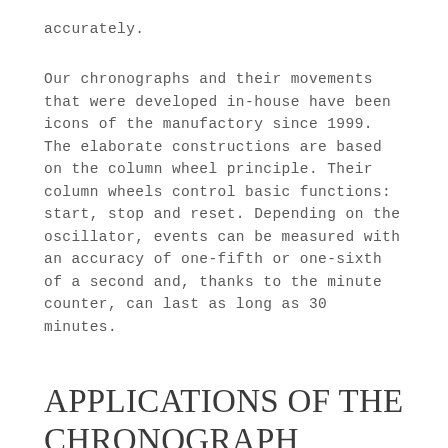accurately.
Our chronographs and their movements that were developed in-house have been icons of the manufactory since 1999. The elaborate constructions are based on the column wheel principle. Their column wheels control basic functions: start, stop and reset. Depending on the oscillator, events can be measured with an accuracy of one-fifth or one-sixth of a second and, thanks to the minute counter, can last as long as 30 minutes.
APPLICATIONS OF THE CHRONOGRAPH FUNCTION